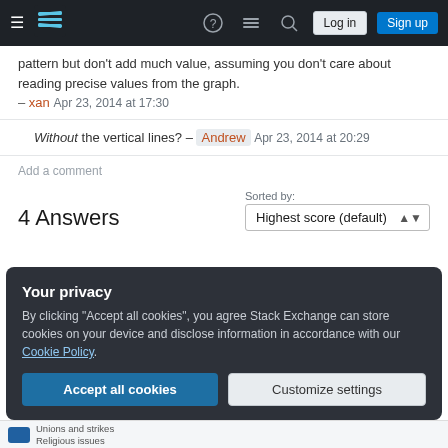Stack Exchange navigation bar with Log in and Sign up buttons
pattern but don't add much value, assuming you don't care about reading precise values from the graph. – xan Apr 23, 2014 at 17:30
Without the vertical lines? – Andrew Apr 23, 2014 at 20:29
Add a comment
4 Answers
Sorted by: Highest score (default)
Your privacy
By clicking "Accept all cookies", you agree Stack Exchange can store cookies on your device and disclose information in accordance with our Cookie Policy.
Accept all cookies
Customize settings